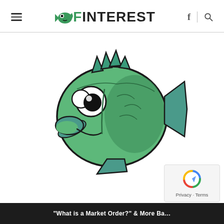FINTEREST
[Figure (logo): Finterest website logo with a green cartoon fish icon and the text FINTEREST in bold black uppercase letters]
[Figure (illustration): Cartoon illustration of a smiling green fish character with large eyes, spiky dorsal fin, and fins, facing slightly left on a white background]
[Figure (other): Google reCAPTCHA privacy badge in bottom right corner with spinning arrow icon and Privacy / Terms text]